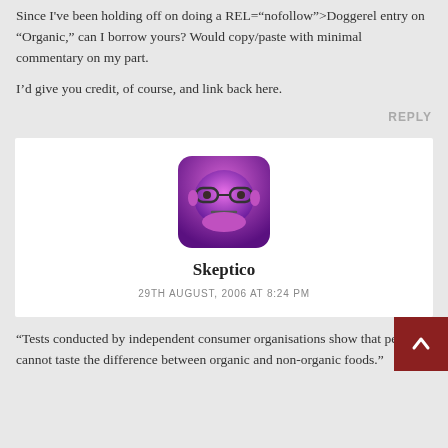Since I've been holding off on doing a REL="nofollow">Doggerel entry on "Organic," can I borrow yours? Would copy/paste with minimal commentary on my part.
I'd give you credit, of course, and link back here.
REPLY
[Figure (illustration): Avatar image of Skeptico: a pink/purple square rounded icon with cartoon glasses and a neutral expression face]
Skeptico
29TH AUGUST, 2006 AT 8:24 PM
“Tests conducted by independent consumer organisations show that people cannot taste the difference between organic and non-organic foods.”